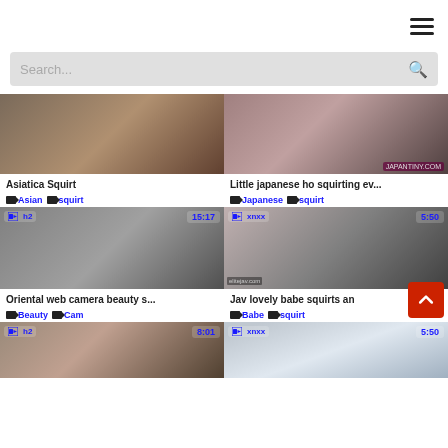Hamburger menu icon
Search...
[Figure (screenshot): Video thumbnail grid with 6 video cards showing titles, tags, source badges and durations]
Asiatica Squirt
Asian  squirt
Little japanese ho squirting ev...
Japanese  squirt
Oriental web camera beauty s...
Beauty  Cam
Jav lovely babe squirts an
Babe  squirt